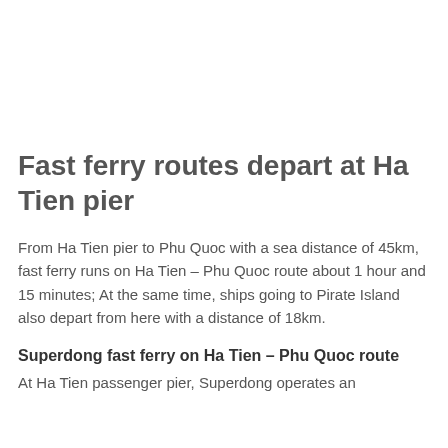Fast ferry routes depart at Ha Tien pier
From Ha Tien pier to Phu Quoc with a sea distance of 45km, fast ferry runs on Ha Tien – Phu Quoc route about 1 hour and 15 minutes; At the same time, ships going to Pirate Island also depart from here with a distance of 18km.
Superdong fast ferry on Ha Tien – Phu Quoc route
At Ha Tien passenger pier, Superdong operates an